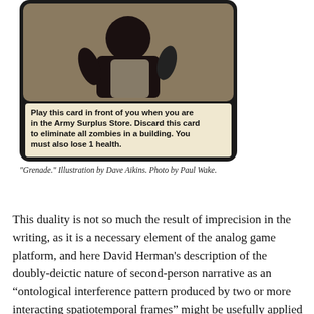[Figure (photo): A game card with illustration of a figure wearing dark clothing and the text: 'Play this card in front of you when you are in the Army Surplus Store. Discard this card to eliminate all zombies in a building. You must also lose 1 health.' Card is titled 'Grenade.']
"Grenade." Illustration by Dave Aikins. Photo by Paul Wake.
This duality is not so much the result of imprecision in the writing, as it is a necessary element of the analog game platform, and here David Herman's description of the doubly-deictic nature of second-person narrative as an “ontological interference pattern produced by two or more interacting spatiotemporal frames” might be usefully applied to the necessary interrelation of players and games. While this applies to both the analog and the digital, in the former the “interference” is perhaps more immediately apparent in the